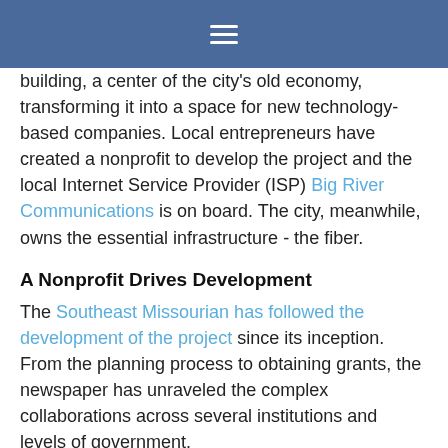≡
building, a center of the city's old economy, transforming it into a space for new technology-based companies. Local entrepreneurs have created a nonprofit to develop the project and the local Internet Service Provider (ISP) Big River Communications is on board. The city, meanwhile, owns the essential infrastructure - the fiber.
A Nonprofit Drives Development
The Southeast Missourian has followed the development of the project since its inception. From the planning process to obtaining grants, the newspaper has unraveled the complex collaborations across several institutions and levels of government.
The City of Cape Girardeau, population 40,000, has always been a regional commercial hub on the Mississippi River in southern Missouri. In the late